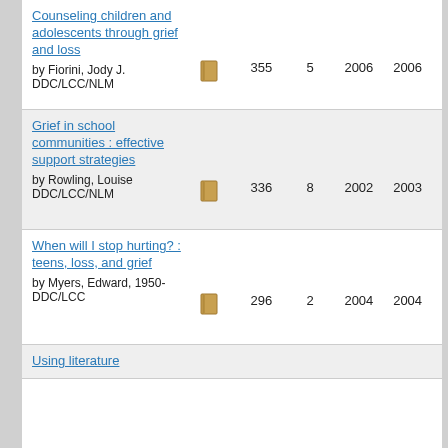| Title/Author | Icon | Pages | Copies | Pub Year | Acq Year |
| --- | --- | --- | --- | --- | --- |
| Counseling children and adolescents through grief and loss
by Fiorini, Jody J.
DDC/LCC/NLM | [book icon] | 355 | 5 | 2006 | 2006 |
| Grief in school communities : effective support strategies
by Rowling, Louise
DDC/LCC/NLM | [book icon] | 336 | 8 | 2002 | 2003 |
| When will I stop hurting? : teens, loss, and grief
by Myers, Edward, 1950-
DDC/LCC | [book icon] | 296 | 2 | 2004 | 2004 |
| Using literature... |  |  |  |  |  |